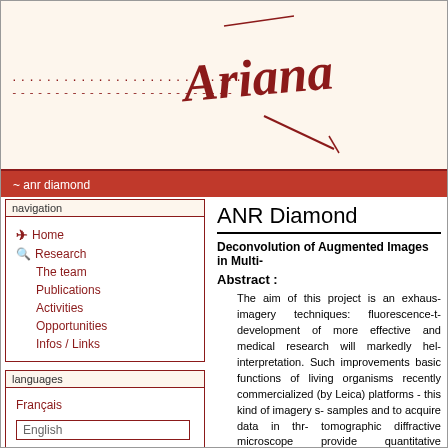[Figure (logo): Ariana project logo with stylized cursive 'Ariana' text in dark red and decorative lines]
...........................
--------------------------
~ anr diamond
navigation
Home
Research
The team
Publications
Activities
Opportunities
Infos / Links
languages
Français
English
infos
ANR Diamond
Deconvolution of Augmented Images in Multi-
Abstract :
The aim of this project is an exhaus- imagery techniques: fluorescence-t- development of more effective and medical research will markedly hel- interpretation. Such improvements basic functions of living organisms recently commercialized (by Leica) platforms - this kind of imagery s- samples and to acquire data in thr- tomographic diffractive microscope provide quantitative information abo- In a first phase, we will model the sy- beads), image acquisition and PS- Following this, we propose to desig- observed images. We will use a ref- deconvolution in fluorescence-tomo- will be taking advantage of rece-